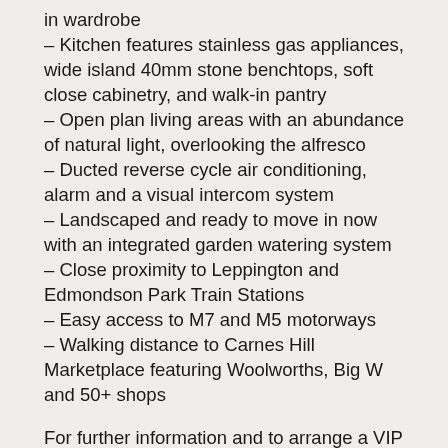in wardrobe
– Kitchen features stainless gas appliances, wide island 40mm stone benchtops, soft close cabinetry, and walk-in pantry
– Open plan living areas with an abundance of natural light, overlooking the alfresco
– Ducted reverse cycle air conditioning, alarm and a visual intercom system
– Landscaped and ready to move in now with an integrated garden watering system
– Close proximity to Leppington and Edmondson Park Train Stations
– Easy access to M7 and M5 motorways
– Walking distance to Carnes Hill Marketplace featuring Woolworths, Big W and 50+ shops
For further information and to arrange a VIP